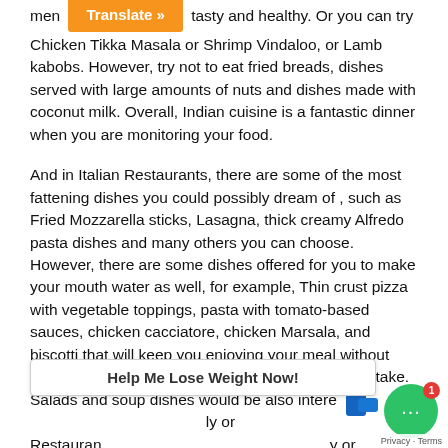men [Translate »] tasty and healthy. Or you can try Chicken Tikka Masala or Shrimp Vindaloo, or Lamb kabobs. However, try not to eat fried breads, dishes served with large amounts of nuts and dishes made with coconut milk. Overall, Indian cuisine is a fantastic dinner when you are monitoring your food.
And in Italian Restaurants, there are some of the most fattening dishes you could possibly dream of , such as Fried Mozzarella sticks, Lasagna, thick creamy Alfredo pasta dishes and many others you can choose. However, there are some dishes offered for you to make your mouth water as well, for example, Thin crust pizza with vegetable toppings, pasta with tomato-based sauces, chicken cacciatore, chicken Marsala, and biscotti that will keep you enjoying your meal without having to cutting down calories and watching fat intake. Salads and soup dishes would be also interesting. Try to avoid all deserts in the Italian Restaurants, as they are made with... y or cheese.